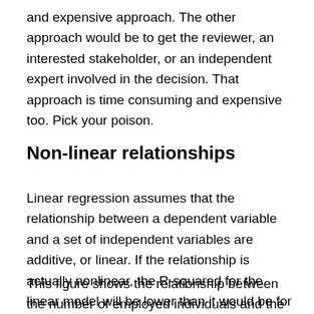and expensive approach. The other approach would be to get the reviewer, an interested stakeholder, or an independent expert involved in the decision. That approach is time consuming and expensive too. Pick your poison.
Non-linear relationships
Linear regression assumes that the relationship between a dependent variable and a set of independent variables are additive, or linear. If the relationship is actually nonlinear, the R-squared for the linear model will be lower than it would be for a better fitting nonlinear model.
This figure shows the relationship between the number of employed individuals and the number of individuals not in